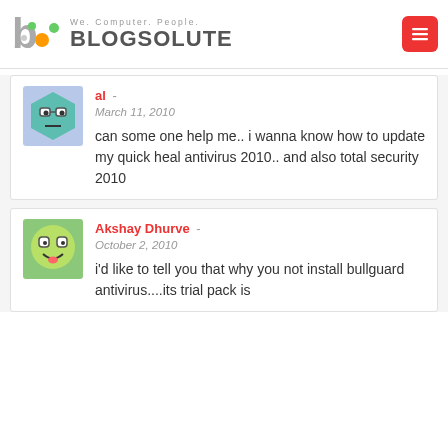We. Computer. People. BLOGSOLUTE
al - March 11, 2010
can some one help me.. i wanna know how to update my quick heal antivirus 2010.. and also total security 2010
Akshay Dhurve - October 2, 2010
i'd like to tell you that why you not install bullguard antivirus....its trial pack is